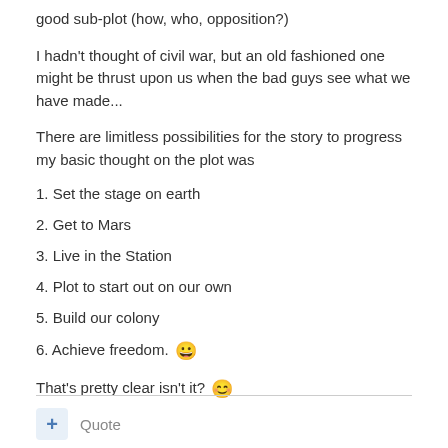good sub-plot (how, who, opposition?)
I hadn't thought of civil war, but an old fashioned one might be thrust upon us when the bad guys see what we have made...
There are limitless possibilities for the story to progress my basic thought on the plot was
1. Set the stage on earth
2. Get to Mars
3. Live in the Station
4. Plot to start out on our own
5. Build our colony
6. Achieve freedom. 😀
That's pretty clear isn't it? 😊
+ Quote